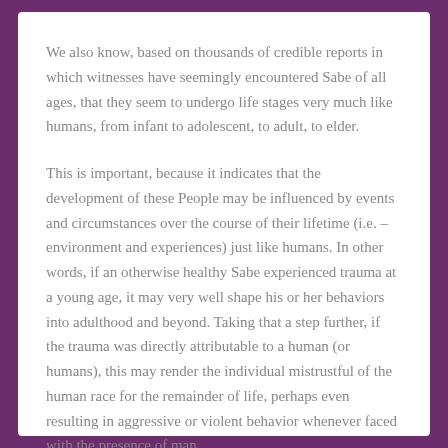We also know, based on thousands of credible reports in which witnesses have seemingly encountered Sabe of all ages, that they seem to undergo life stages very much like humans, from infant to adolescent, to adult, to elder.
This is important, because it indicates that the development of these People may be influenced by events and circumstances over the course of their lifetime (i.e. – environment and experiences) just like humans. In other words, if an otherwise healthy Sabe experienced trauma at a young age, it may very well shape his or her behaviors into adulthood and beyond. Taking that a step further, if the trauma was directly attributable to a human (or humans), this may render the individual mistrustful of the human race for the remainder of life, perhaps even resulting in aggressive or violent behavior whenever faced with the presence of man.